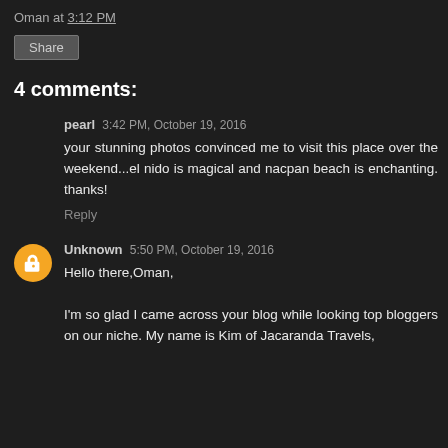Oman at 3:12 PM
Share
4 comments:
pearl 3:42 PM, October 19, 2016
your stunning photos convinced me to visit this place over the weekend...el nido is magical and nacpan beach is enchanting. thanks!
Reply
Unknown 5:50 PM, October 19, 2016
Hello there,Oman,

I'm so glad I came across your blog while looking top bloggers on our niche. My name is Kim of Jacaranda Travels,